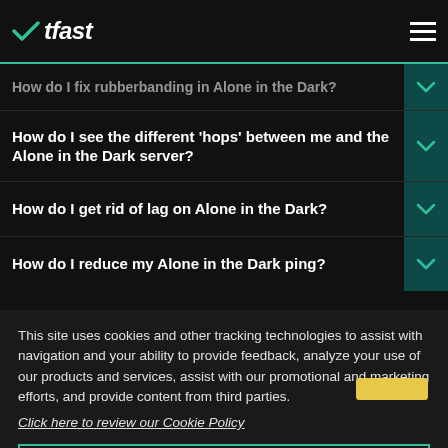WTFast
How do I fix rubberbanding in Alone in the Dark?
How do I see the different 'hops' between me and the Alone in the Dark server?
How do I get rid of lag on Alone in the Dark?
How do I reduce my Alone in the Dark ping?
This site uses cookies and other tracking technologies to assist with navigation and your ability to provide feedback, analyze your use of our products and services, assist with our promotional and marketing efforts, and provide content from third parties.
Click here to review our Cookie Policy
ACCEPT ALL
Accept mandatory and performance